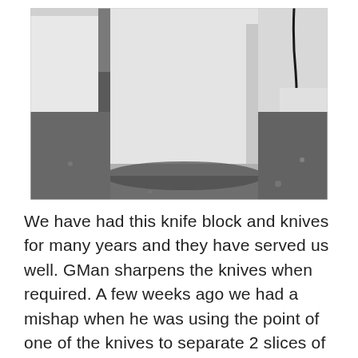[Figure (photo): A photograph showing a white appliance or box-like object (likely a knife block or kitchen appliance) sitting on a dark grey concrete or stone floor, with white walls/cabinets in the background and a black cable visible on the right side.]
We have had this knife block and knives for many years and they have served us well. GMan sharpens the knives when required. A few weeks ago we had a mishap when he was using the point of one of the knives to separate 2 slices of frozen bread. There were no injuries sustained, however, about 1 cm of the tip of the knife broke off. Some research revealed that we could order an identical replacement knife which we collected from the Post Office